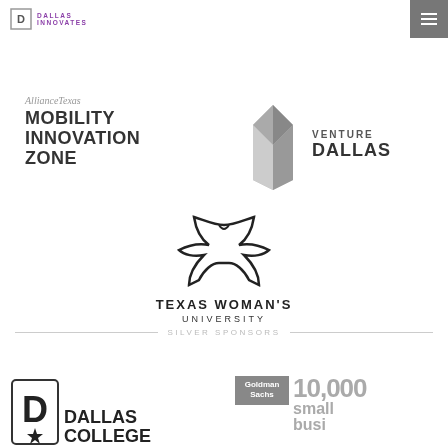[Figure (logo): Dallas Innovates logo in top left header with purple text and a bordered D icon]
[Figure (logo): AllianceTexas Mobility Innovation Zone logo - italic AllianceTexas above bold uppercase MOBILITY INNOVATION ZONE]
[Figure (logo): Venture Dallas logo with a grey diamond/building icon and VENTURE DALLAS text in dark uppercase]
[Figure (logo): Texas Woman's University logo with stylized W bird/wing emblem above TEXAS WOMAN'S UNIVERSITY text]
SILVER SPONSORS
[Figure (logo): Dallas College logo with a D star icon and DALLAS COLLEGE bold text]
[Figure (logo): Goldman Sachs 10,000 small business logo]